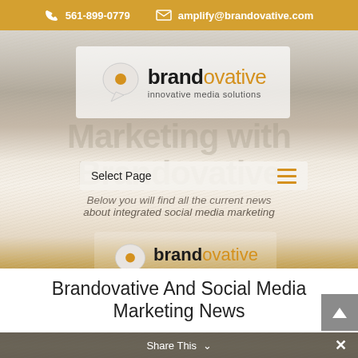📞 561-899-0779  ✉ amplify@brandovative.com
[Figure (logo): Brandovative logo with speech bubble icon - 'brand' in black, 'ovative' in orange, 'innovative media solutions' tagline]
Marketing with Brandovative
Select Page
Below you will find all the current news about integrated social media marketing
[Figure (logo): Brandovative logo with speech bubble icon - smaller version - 'brand' in black, 'ovative' in orange, 'innovative media solutions' tagline]
Brandovative And Social Media Marketing News
Share This